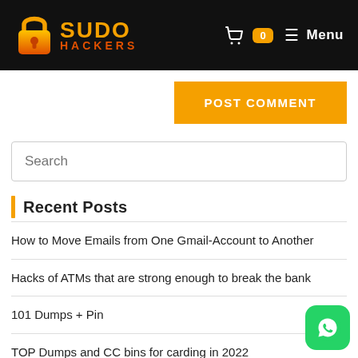SUDO HACKERS
[Figure (screenshot): POST COMMENT orange button]
[Figure (screenshot): Search input field]
Recent Posts
How to Move Emails from One Gmail-Account to Another
Hacks of ATMs that are strong enough to break the bank
101 Dumps + Pin
TOP Dumps and CC bins for carding in 2022